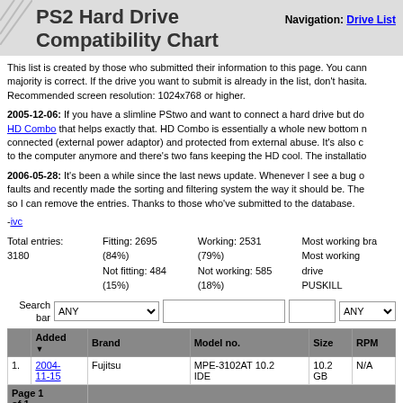PS2 Hard Drive Compatibility Chart
Navigation: Drive List
This list is created by those who submitted their information to this page. You cannot be 100% sure the majority is correct. If the drive you want to submit is already in the list, don't hasita... Recommended screen resolution: 1024x768 or higher.
2005-12-06: If you have a slimline PStwo and want to connect a hard drive but do... HD Combo that helps exactly that. HD Combo is essentially a whole new bottom n... connected (external power adaptor) and protected from external abuse. It's also c... to the computer anymore and there's two fans keeping the HD cool. The installatio...
2006-05-28: It's been a while since the last news update. Whenever I see a bug o... faults and recently made the sorting and filtering system the way it should be. The... so I can remove the entries. Thanks to those who've submitted to the database.
-ivc
Total entries: 3180
Fitting: 2695 (84%)
Not fitting: 484 (15%)
Working: 2531 (79%)
Not working: 585 (18%)
Most working bra...
Most working drive...
PUSKILL
|  | Added | Brand | Model no. | Size | RPM |
| --- | --- | --- | --- | --- | --- |
| 1. | 2004-11-15 | Fujitsu | MPE-3102AT 10.2 IDE | 10.2 GB | N/A |
| Page 1 of 1 |  |  |  |  |  |
Click on the particular brand, model number, size or status to filter out all...
Sort the columns by clicking on the labels on the top grey bar, a second c...
Use the search bar to make specific searches, i.e. show all Connectdi...